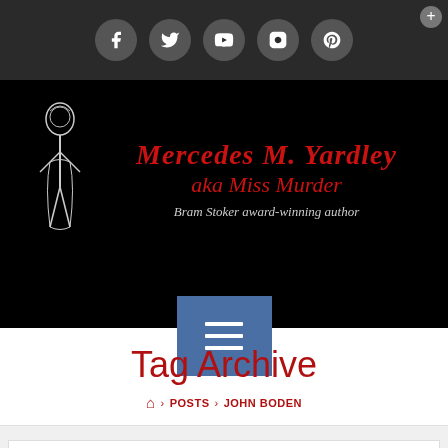[Figure (screenshot): Social media icon bar with Facebook, Twitter, YouTube, Instagram, Pinterest icons on dark background]
[Figure (logo): Mercedes M. Yardley aka Miss Murder website header with gothic illustration and red script title on black background. Subtitle: Bram Stoker award-winning author]
Tag Archive
🏠 › POSTS › JOHN BODEN
Arterial Bloom Welcomes Todd